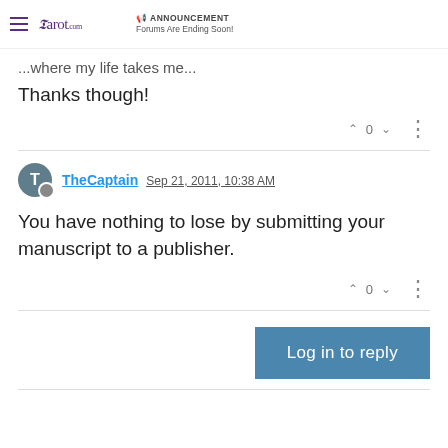Tarot.com ANNOUNCEMENT Forums Are Ending Soon!
...where my life takes me...
Thanks though!
TheCaptain Sep 21, 2011, 10:38 AM
You have nothing to lose by submitting your manuscript to a publisher.
Log in to reply